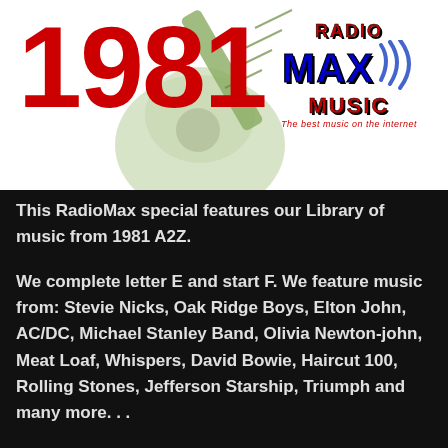[Figure (logo): Radio Max Music logo with '1981' text in red and a guitar illustration in the background. Logo shows RADIO MAX MUSIC with tagline 'The best music on the internet' and wifi signal waves in blue.]
This RadioMax special features our Library of music from 1981 A2Z.
We complete letter E and start F. We feature music from: Stevie Nicks, Oak Ridge Boys, Elton John, AC/DC, Michael Stanley Band, Olivia Newton-john, Meat Loaf, Whispers, David Bowie, Haircut 100, Rolling Stones, Jefferson Starship, Triumph and many more. . .